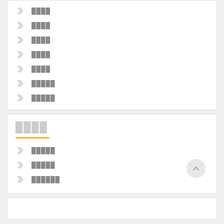████
████
████
████
████
█████
█████
████
█████
█████
██████